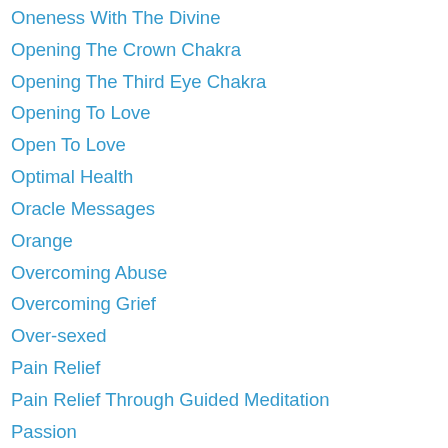Oneness With The Divine
Opening The Crown Chakra
Opening The Third Eye Chakra
Opening To Love
Open To Love
Optimal Health
Oracle Messages
Orange
Overcoming Abuse
Overcoming Grief
Over-sexed
Pain Relief
Pain Relief Through Guided Meditation
Passion
Past And Future
Past-Life Regression
Past Lives
Paulo Coelho
Peace
Pendulum
Pendulum Testing Of Chakras